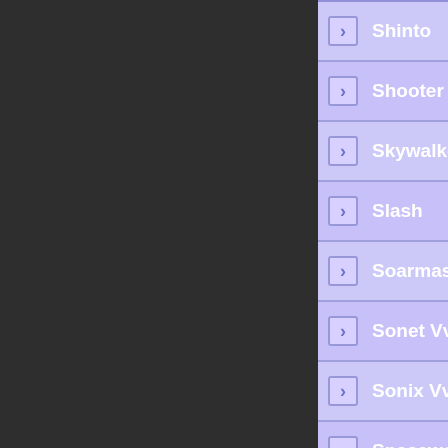Shinto
Shooter
Skywalker
Slash
Soarmaster
Sonet Vvmodel 2015
Sonix Vvmodel 2015
Spacewolf
Sting
Stinger
Stork 1
Stork 2
Supersonic
Sunna Express
7 channel protocols.
The REX stabilization three axes manoeuvr suitable f
S
Weight [g
13
Dimensio
42 x 28 x
Number o
7
Telemetry
Yes